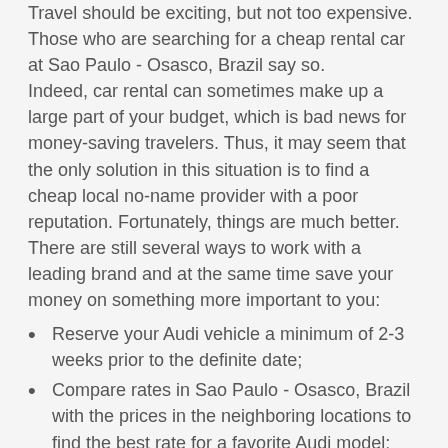Travel should be exciting, but not too expensive. Those who are searching for a cheap rental car at Sao Paulo - Osasco, Brazil say so. Indeed, car rental can sometimes make up a large part of your budget, which is bad news for money-saving travelers. Thus, it may seem that the only solution in this situation is to find a cheap local no-name provider with a poor reputation. Fortunately, things are much better. There are still several ways to work with a leading brand and at the same time save your money on something more important to you:
Reserve your Audi vehicle a minimum of 2-3 weeks prior to the definite date;
Compare rates in Sao Paulo - Osasco, Brazil with the prices in the neighboring locations to find the best rate for a favorite Audi model;
Rent a car for a minimum of 7 consecutive days to get each separate rental day much cheaper;
Choose a car according to your needs and not according to appearance;
Ask for full-to-full gas option;